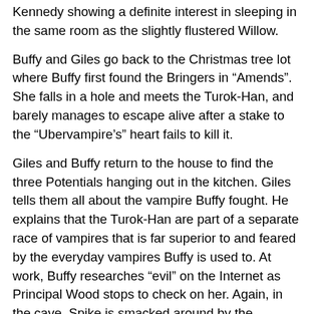Kennedy showing a definite interest in sleeping in the same room as the slightly flustered Willow.
Buffy and Giles go back to the Christmas tree lot where Buffy first found the Bringers in "Amends". She falls in a hole and meets the Turok-Han, and barely manages to escape alive after a stake to the "Ubervampire's" heart fails to kill it.
Giles and Buffy return to the house to find the three Potentials hanging out in the kitchen. Giles tells them all about the vampire Buffy fought. He explains that the Turok-Han are part of a separate race of vampires that is far superior to and feared by the everyday vampires Buffy is used to. At work, Buffy researches "evil" on the Internet as Principal Wood stops to check on her. Again, in the cave, Spike is smacked around by the Ubervamp while Drusilla dances about and tries to convince Spike to decide to be on their side of the game. Spike doesn't fall for the mind tricks and earns himself more of a beating from the Ubervamp.